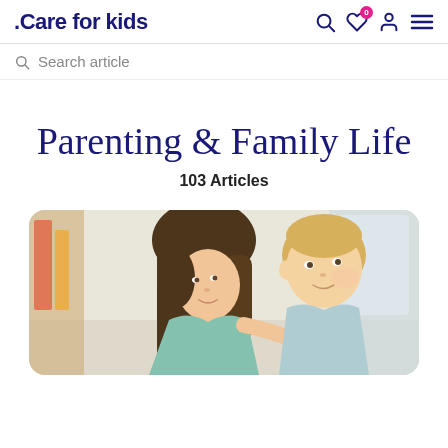Care for kids
Search article
Parenting & Family Life
103 Articles
[Figure (photo): A mother with dark hair leaning over and interacting with a young toddler with light hair, in a bright indoor setting]